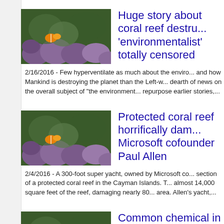[Figure (photo): Thumbnail image of coral reef with orange and purple marine life]
Huge story about coral reef destruction by 'environmentalist' totally censored
2/16/2016 - Few hyperventilate as much about the environment and how Mankind is destroying the planet than the Left-w... dearth of news on the overall subject of "the environment" repurpose earlier stories,...
[Figure (photo): Thumbnail image of coral reef with orange and purple marine life]
Protected coral reef horrifically damaged by Microsoft cofounder Paul Allen
2/4/2016 - A 300-foot super yacht, owned by Microsoft co... section of a protected coral reef in the Cayman Islands. T... almost 14,000 square feet of the reef, damaging nearly 80... area. Allen's yacht,...
[Figure (photo): Thumbnail image of coral reef with orange and purple marine life]
Common chemical in laundry dete...
2/5/2014 - A common ingredient in detergents, soaps and... part by damaging their DNA, according to a study conduc... University and Ben-Gurion University of the Negev (both ... Haereticus Environmental Laboratory...